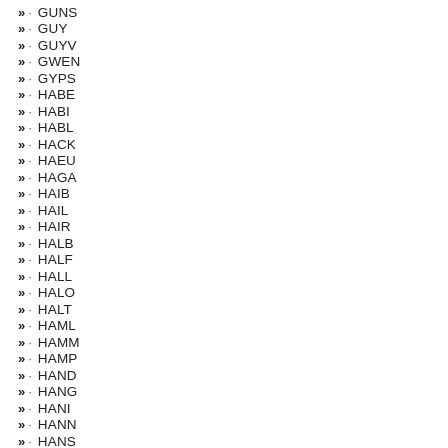» · GUNS
» · GUY
» · GUYV
» · GWEN
» · GYPS
» · HABE
» · HABI
» · HABL
» · HACK
» · HAEU
» · HAGA
» · HAIB
» · HAIL
» · HAIR
» · HALB
» · HALF
» · HALL
» · HALO
» · HALT
» · HAML
» · HAMM
» · HAMP
» · HAND
» · HANG
» · HANI
» · HANN
» · HANS